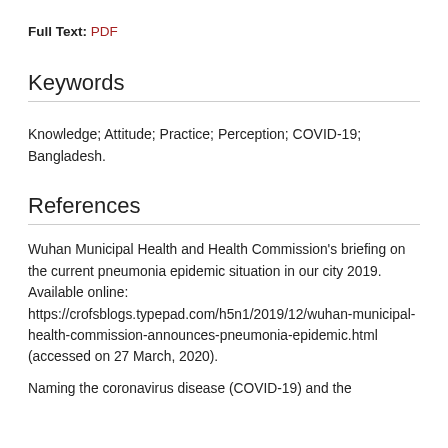Full Text: PDF
Keywords
Knowledge; Attitude; Practice; Perception; COVID-19; Bangladesh.
References
Wuhan Municipal Health and Health Commission's briefing on the current pneumonia epidemic situation in our city 2019. Available online: https://crofsblogs.typepad.com/h5n1/2019/12/wuhan-municipal-health-commission-announces-pneumonia-epidemic.html (accessed on 27 March, 2020).
Naming the coronavirus disease (COVID-19) and the